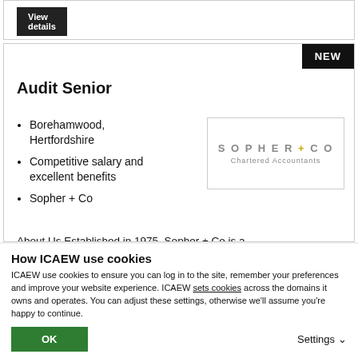[Figure (screenshot): Partial top card with 'View details' black button]
NEW
Audit Senior
Borehamwood, Hertfordshire
Competitive salary and excellent benefits
Sopher + Co
[Figure (logo): SOPHER + CO Chartered Accountants logo in a bordered box]
About Us Established in 1975, Sopher + Co is a trusted business advisor of choice for...
How ICAEW use cookies
ICAEW use cookies to ensure you can log in to the site, remember your preferences and improve your website experience. ICAEW sets cookies across the domains it owns and operates. You can adjust these settings, otherwise we'll assume you're happy to continue.
OK
Settings